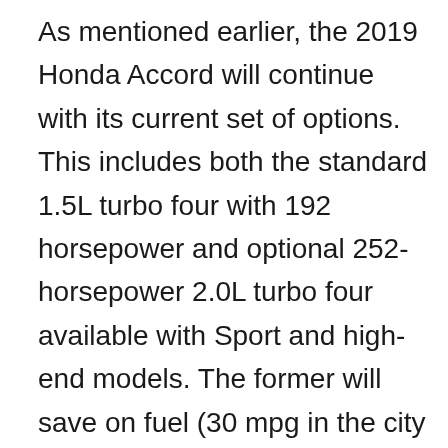As mentioned earlier, the 2019 Honda Accord will continue with its current set of options. This includes both the standard 1.5L turbo four with 192 horsepower and optional 252-horsepower 2.0L turbo four available with Sport and high-end models. The former will save on fuel (30 mpg in the city and 38 mpg on the highway) while offering more than ample power, while the latter builds on the power play and converts a naturally unimpressive intermediate into fun on wheels. At the same time, the smaller engine comes with a CVT gearbox, while the larger offers a choice between a standard 6-speed and...